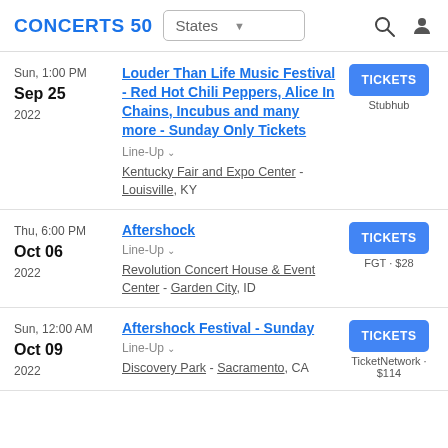CONCERTS 50 | States (dropdown) | Search | User
Sun, 1:00 PM Sep 25 2022 | Louder Than Life Music Festival - Red Hot Chili Peppers, Alice In Chains, Incubus and many more - Sunday Only Tickets | Line-Up | Kentucky Fair and Expo Center - Louisville, KY | TICKETS Stubhub
Thu, 6:00 PM Oct 06 2022 | Aftershock | Line-Up | Revolution Concert House & Event Center - Garden City, ID | TICKETS FGT · $28
Sun, 12:00 AM Oct 09 2022 | Aftershock Festival - Sunday | Line-Up | Discovery Park - Sacramento, CA | TICKETS TicketNetwork · $114